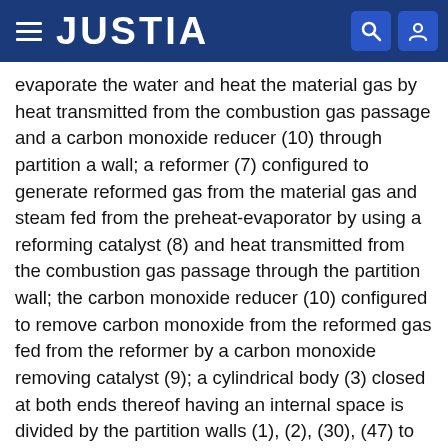JUSTIA
evaporate the water and heat the material gas by heat transmitted from the combustion gas passage and a carbon monoxide reducer (10) through partition a wall; a reformer (7) configured to generate reformed gas from the material gas and steam fed from the preheat-evaporator by using a reforming catalyst (8) and heat transmitted from the combustion gas passage through the partition wall; the carbon monoxide reducer (10) configured to remove carbon monoxide from the reformed gas fed from the reformer by a carbon monoxide removing catalyst (9); a cylindrical body (3) closed at both ends thereof having an internal space is divided by the partition walls (1), (2), (30), (47) to form the combustion gas passage, preheat-evaporator, reformer and carbon monoxide reducer within the cyli
Type: Grant
Filed: September 3, 2007